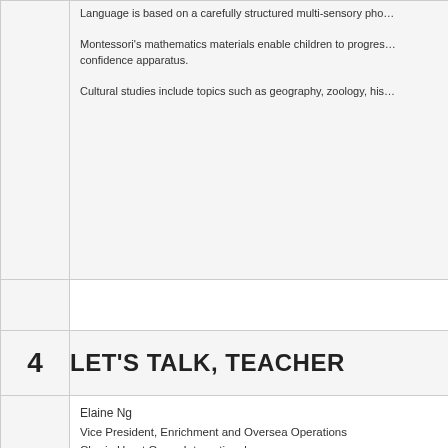Language is based on a carefully structured multi-sensory ph...
Montessori's mathematics materials enable children to progress... confidence apparatus.
Cultural studies include topics such as geography, zoology, his...
4
LET'S TALK, TEACHER
Elaine Ng
Vice President, Enrichment and Oversea Operations
Cherie Heart Group International
LET'S TALK, TEACHER
Enrolling your child in a preschool can be a time of anxiety and... preschool? Will he make friends? Will my child be ready for for...
Establishing and maintaining an open, clear channel of commu... many parental concerns. By approaching your child's teacher w... preschool experience and take pride in celebrating his achieve...
HI, THERE Take the first step to get acquainted with your chil...